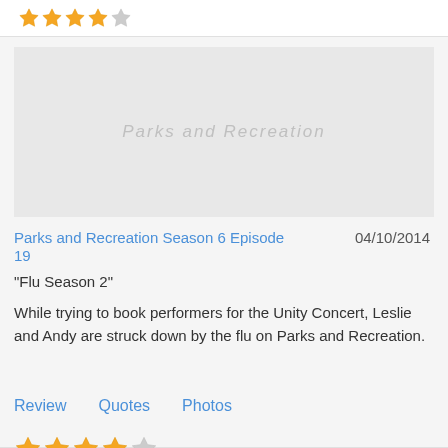[Figure (other): Star rating: 4 out of 5 gold stars (top bar)]
[Figure (illustration): Thumbnail image placeholder area with faint watermark text]
Parks and Recreation Season 6 Episode 19    04/10/2014
"Flu Season 2"
While trying to book performers for the Unity Concert, Leslie and Andy are struck down by the flu on Parks and Recreation.
Review    Quotes    Photos
[Figure (other): Star rating: 4 out of 5 gold stars (bottom of card)]